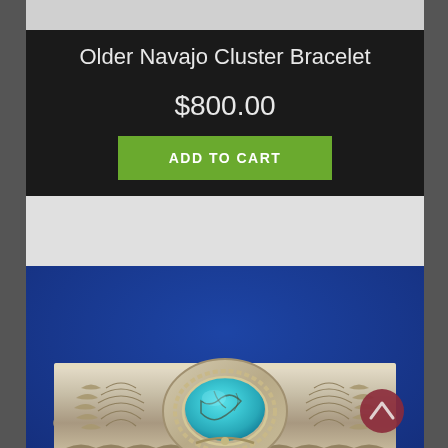Older Navajo Cluster Bracelet
$800.00
ADD TO CART
[Figure (photo): Close-up photograph of a Navajo silver cuff bracelet with a turquoise stone center setting, twisted rope detail, and stamped decorative patterns on blue velvet background]